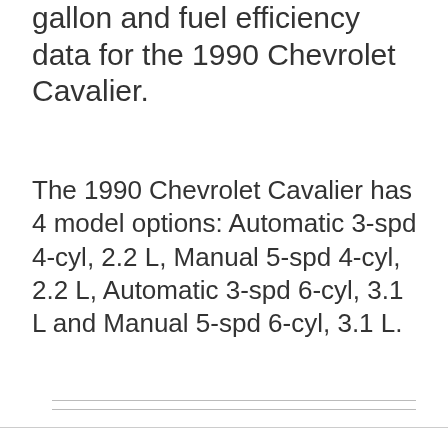gallon and fuel efficiency data for the 1990 Chevrolet Cavalier.
The 1990 Chevrolet Cavalier has 4 model options: Automatic 3-spd 4-cyl, 2.2 L, Manual 5-spd 4-cyl, 2.2 L, Automatic 3-spd 6-cyl, 3.1 L and Manual 5-spd 6-cyl, 3.1 L.